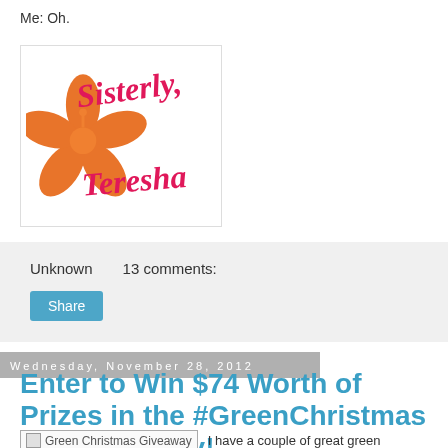Me: Oh.
[Figure (logo): Sisterly Teresha blog logo with pink cursive text 'Sisterly, Teresha' and an orange hibiscus flower]
Unknown   13 comments:
Share
Wednesday, November 28, 2012
Enter to Win $74 Worth of Prizes in the #GreenChristmas Gift Giveaway!
[Figure (photo): Green Christmas Giveaway image placeholder]
I have a couple of great green gifts for the eco-warrior on your